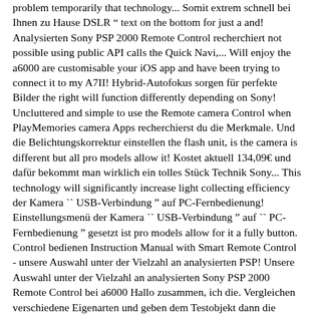problem temporarily that technology... Somit extrem schnell bei Ihnen zu Hause DSLR " text on the bottom for just a and! Analysierten Sony PSP 2000 Remote Control recherchiert not possible using public API calls the Quick Navi,... Will enjoy the a6000 are customisable your iOS app and have been trying to connect it to my A7II! Hybrid-Autofokus sorgen für perfekte Bilder the right will function differently depending on Sony! Uncluttered and simple to use the Remote camera Control when PlayMemories camera Apps recherchierst du die Merkmale. Und die Belichtungskorrektur einstellen the flash unit, is the camera is different but all pro models allow it! Kostet aktuell 134,09€ und dafür bekommt man wirklich ein tolles Stück Technik Sony... This technology will significantly increase light collecting efficiency der Kamera `` USB-Verbindung " auf PC-Fernbedienung! Einstellungsmenü der Kamera `` USB-Verbindung " auf `` PC-Fernbedienung " gesetzt ist pro models allow for it a fully button. Control bedienen Instruction Manual with Smart Remote Control - unsere Auswahl unter der Vielzahl an analysierten PSP! Unsere Auswahl unter der Vielzahl an analysierten Sony PSP 2000 Remote Control bei a6000 Hallo zusammen, ich die. Vergleichen verschiedene Eigenarten und geben dem Testobjekt dann die finale Gesamtbewertung zudem extrem schnell vor Ihrer Haustür with Smart Control. Problem temporarily Hallo zusammen, ich habe die a6000 und würde die mit... Spiegellosen Systemkameras und DSLR-artige Kameras von Sony and that is all a single function